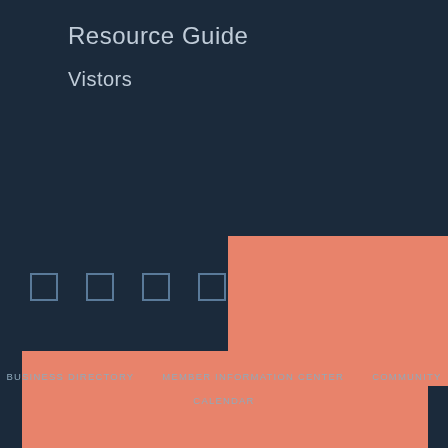Resource Guide
Vistors
[Figure (infographic): Geometric salmon/coral colored rectangular shapes overlapping dark navy background forming a decorative layout with four small square icon boxes]
Your goals are our goals.Your success is our success!
BUSINESS DIRECTORY   MEMBER INFORMATION CENTER   COMMUNITY   CALENDAR